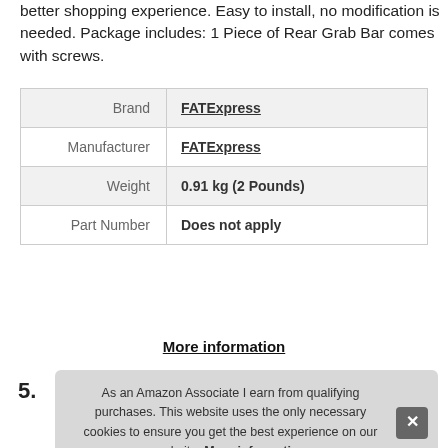better shopping experience. Easy to install, no modification is needed. Package includes: 1 Piece of Rear Grab Bar comes with screws.
| Brand | FATExpress |
| Manufacturer | FATExpress |
| Weight | 0.91 kg (2 Pounds) |
| Part Number | Does not apply |
More information
5.
As an Amazon Associate I earn from qualifying purchases. This website uses the only necessary cookies to ensure you get the best experience on our website. More information